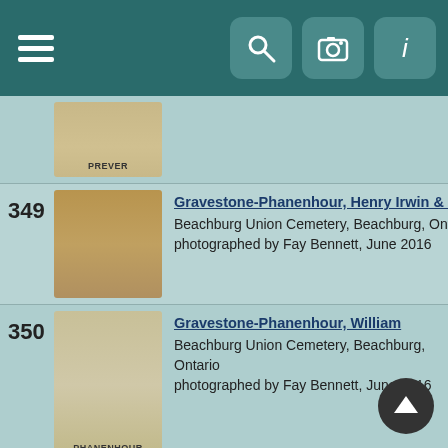[Figure (screenshot): Mobile app navigation bar with hamburger menu on left and search, camera, info icons on right, dark teal background]
349 Gravestone-Phanenhour, Henry Irwin & Mabel nee [truncated]
Beachburg Union Cemetery, Beachburg, Ontario
photographed by Fay Bennett, June 2016
350 Gravestone-Phanenhour, William
Beachburg Union Cemetery, Beachburg, Ontario
photographed by Fay Bennett, June 2016
351 Gravestone-Phanenhour, William & Rebecca nee Pi[truncated]
Beachburg Union Cemetery, Beachburg, Ontario
photographed by Fay Bennett, June 2016
352 Gravestone-Pilgrim, George & Gertrude nee Hartwic[truncated]
Beachburg Union Cemetery
photographed by Fay Bennett